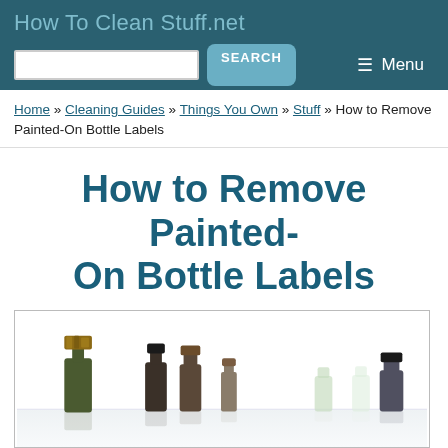How To Clean Stuff.net
Home » Cleaning Guides » Things You Own » Stuff » How to Remove Painted-On Bottle Labels
How to Remove Painted-On Bottle Labels
[Figure (photo): Row of wine/liquor bottles with various caps seen from above a reflective surface, white background]